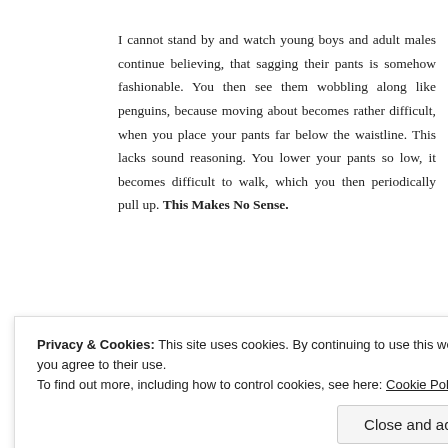I cannot stand by and watch young boys and adult males continue believing, that sagging their pants is somehow fashionable. You then see them wobbling along like penguins, because moving about becomes rather difficult, when you place your pants far below the waistline. This lacks sound reasoning. You lower your pants so low, it becomes difficult to walk, which you then periodically pull up. This Makes No Sense.
[Figure (other): WordPress hosting banner: 'where WordPress Works Best' with a 'SEE PRICING' button in dark blue]
Privacy & Cookies: This site uses cookies. By continuing to use this website, you agree to their use.
To find out more, including how to control cookies, see here: Cookie Policy
Close and accept